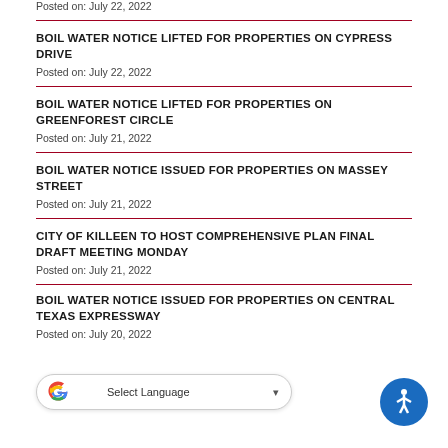Posted on: July 22, 2022
BOIL WATER NOTICE LIFTED FOR PROPERTIES ON CYPRESS DRIVE
Posted on: July 22, 2022
BOIL WATER NOTICE LIFTED FOR PROPERTIES ON GREENFOREST CIRCLE
Posted on: July 21, 2022
BOIL WATER NOTICE ISSUED FOR PROPERTIES ON MASSEY STREET
Posted on: July 21, 2022
CITY OF KILLEEN TO HOST COMPREHENSIVE PLAN FINAL DRAFT MEETING MONDAY
Posted on: July 21, 2022
BOIL WATER NOTICE ISSUED FOR PROPERTIES ON CENTRAL TEXAS EXPRESSWAY
Posted on: July 20, 2022